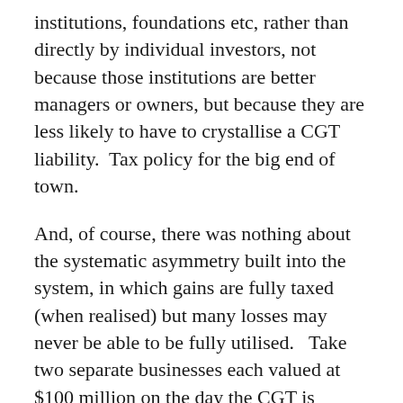institutions, foundations etc, rather than directly by individual investors, not because those institutions are better managers or owners, but because they are less likely to have to crystallise a CGT liability.  Tax policy for the big end of town.
And, of course, there was nothing about the systematic asymmetry built into the system, in which gains are fully taxed (when realised) but many losses may never be able to be fully utilised.   Take two separate businesses each valued at $100 million on the day the CGT is implemented, both owned by individuals who are 55.  Over the following decade, one business does well and when the owner comes to retire he sells it for two hundred million dollars.  He is